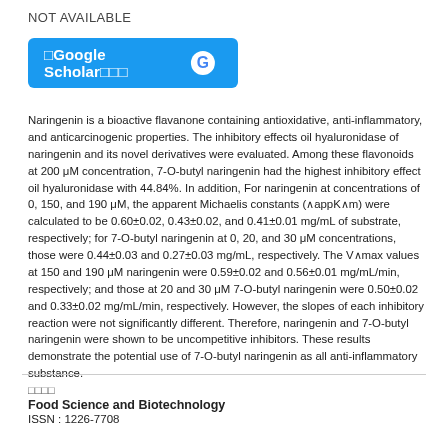NOT AVAILABLE
[Figure (other): Google Scholar button with G logo in blue]
Naringenin is a bioactive flavanone containing antioxidative, anti-inflammatory, and anticarcinogenic properties. The inhibitory effects oil hyaluronidase of naringenin and its novel derivatives were evaluated. Among these flavonoids at 200 μM concentration, 7-O-butyl naringenin had the highest inhibitory effect oil hyaluronidase with 44.84%. In addition, For naringenin at concentrations of 0, 150, and 190 μM, the apparent Michaelis constants (∧appK∧m) were calculated to be 0.60±0.02, 0.43±0.02, and 0.41±0.01 mg/mL of substrate, respectively; for 7-O-butyl naringenin at 0, 20, and 30 μM concentrations, those were 0.44±0.03 and 0.27±0.03 mg/mL, respectively. The V∧max values at 150 and 190 μM naringenin were 0.59±0.02 and 0.56±0.01 mg/mL/min, respectively; and those at 20 and 30 μM 7-O-butyl naringenin were 0.50±0.02 and 0.33±0.02 mg/mL/min, respectively. However, the slopes of each inhibitory reaction were not significantly different. Therefore, naringenin and 7-O-butyl naringenin were shown to be uncompetitive inhibitors. These results demonstrate the potential use of 7-O-butyl naringenin as all anti-inflammatory substance.
□□□□
Food Science and Biotechnology
ISSN : 1226-7708